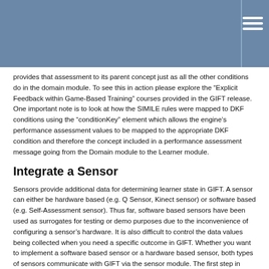provides that assessment to its parent concept just as all the other conditions do in the domain module. To see this in action please explore the "Explicit Feedback within Game-Based Training" courses provided in the GIFT release. One important note is to look at how the SIMILE rules were mapped to DKF conditions using the "conditionKey" element which allows the engine's performance assessment values to be mapped to the appropriate DKF condition and therefore the concept included in a performance assessment message going from the Domain module to the Learner module.
Integrate a Sensor
Sensors provide additional data for determining learner state in GIFT. A sensor can either be hardware based (e.g. Q Sensor, Kinect sensor) or software based (e.g. Self-Assessment sensor). Thus far, software based sensors have been used as surrogates for testing or demo purposes due to the inconvenience of configuring a sensor's hardware. It is also difficult to control the data values being collected when you need a specific outcome in GIFT. Whether you want to implement a software based sensor or a hardware based sensor, both types of sensors communicate with GIFT via the sensor module. The first step in integrating your own sensor in GIFT is to create a sensor implementation class.